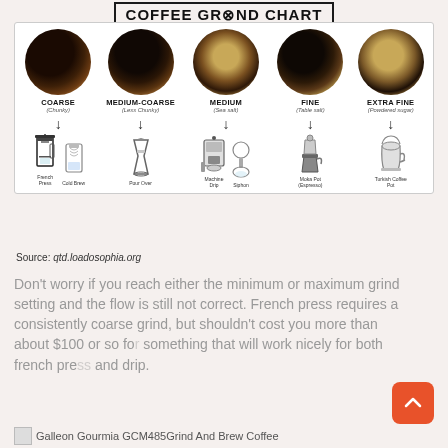[Figure (infographic): Coffee Grind Chart showing 5 grind levels (Coarse/Chunky, Medium-Coarse/Less Chunky, Medium/Sea salt, Fine/Table salt, Extra Fine/Powdered sugar) each with a circular photo of the grind and arrows pointing to recommended brewing methods: French Press & Cold Brew, Pour Over, Machine Drip & Siphon, Moka Pot (Espresso), Turkish Coffee Pot]
Source: qtd.loadosophia.org
Don't worry if you reach either the minimum or maximum grind setting and the flow is still not correct. French press requires a consistently coarse grind, but shouldn't cost you more than about $100 or so for something that will work nicely for both french press and drip.
Galleon Gourmia GCM485 Grind And Brew Coffee